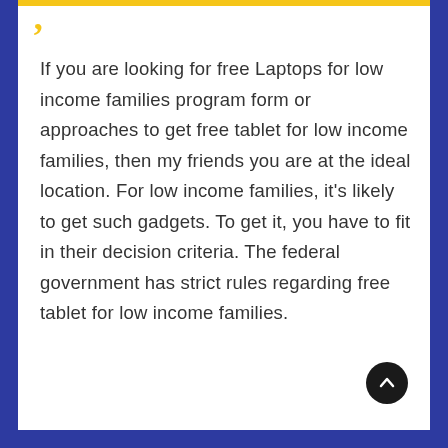If you are looking for free Laptops for low income families program form or approaches to get free tablet for low income families, then my friends you are at the ideal location. For low income families, it's likely to get such gadgets. To get it, you have to fit in their decision criteria. The federal government has strict rules regarding free tablet for low income families.